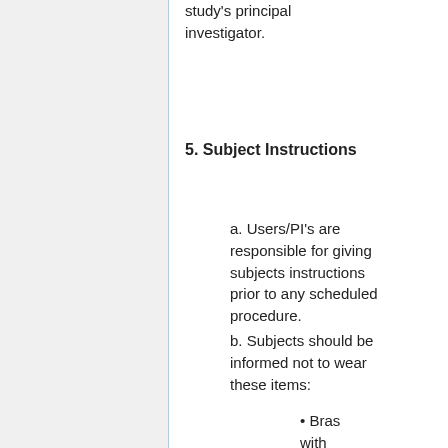study's principal investigator.
5. Subject Instructions
a. Users/PI's are responsible for giving subjects instructions prior to any scheduled procedure.
b. Subjects should be informed not to wear these items:
• Bras with underwires
• Makeup (mascara, eye